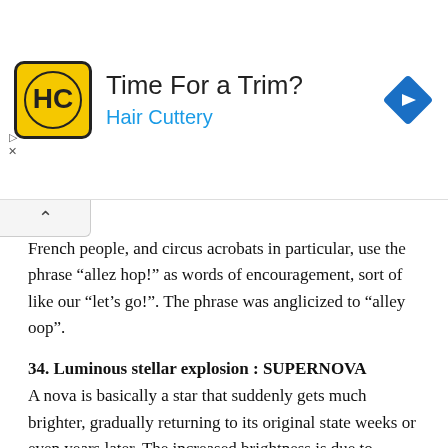[Figure (infographic): Hair Cuttery advertisement banner with logo, text 'Time For a Trim? Hair Cuttery', and a blue navigation diamond icon]
French people, and circus acrobats in particular, use the phrase “allez hop!” as words of encouragement, sort of like our “let’s go!”. The phrase was anglicized to “alley oop”.
34. Luminous stellar explosion : SUPERNOVA
A nova is basically a star that suddenly gets much brighter, gradually returning to its original state weeks or even years later. The increased brightness is due to increased nuclear activity causing the star to pick up extra hydrogen from a neighboring celestial body. A supernova is very different. It is a very bright burst of light and energy, created when most of the material in a star explodes. The bright